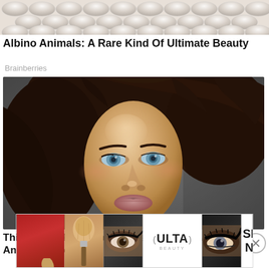[Figure (photo): Top portion of a quilted pearl/white background photo]
Albino Animals: A Rare Kind Of Ultimate Beauty
Brainberries
[Figure (photo): Portrait photograph of a female model with flowing dark brown hair, blue eyes, and natural makeup against a grey background]
This Is Why Plus-Size Models Should Always Be An Inspiration
[Figure (photo): Ulta Beauty advertisement banner showing makeup products including lipstick, brush, eye makeup, and Ulta Beauty logo with SHOP NOW text]